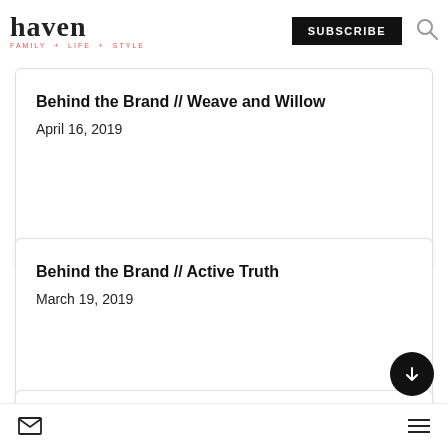haven FAMILY + LIFE + STYLE | SUBSCRIBE
Behind the Brand // Weave and Willow
April 16, 2019
Behind the Brand // Active Truth
March 19, 2019
Brisbane Loves Disney On Ice!
mail icon | hamburger menu